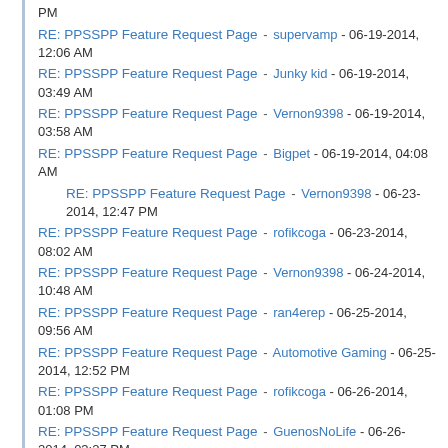RE: PPSSPP Feature Request Page - supervamp - 06-19-2014, 12:06 AM
RE: PPSSPP Feature Request Page - Junky kid - 06-19-2014, 03:49 AM
RE: PPSSPP Feature Request Page - Vernon9398 - 06-19-2014, 03:58 AM
RE: PPSSPP Feature Request Page - Bigpet - 06-19-2014, 04:08 AM
RE: PPSSPP Feature Request Page - Vernon9398 - 06-23-2014, 12:47 PM
RE: PPSSPP Feature Request Page - rofikcoga - 06-23-2014, 08:02 AM
RE: PPSSPP Feature Request Page - Vernon9398 - 06-24-2014, 10:48 AM
RE: PPSSPP Feature Request Page - ran4erep - 06-25-2014, 09:56 AM
RE: PPSSPP Feature Request Page - Automotive Gaming - 06-25-2014, 12:52 PM
RE: PPSSPP Feature Request Page - rofikcoga - 06-26-2014, 01:08 PM
RE: PPSSPP Feature Request Page - GuenosNoLife - 06-26-2014, 03:27 PM
RE: PPSSPP Feature Request Page - LordDF - 07-03-2014, 06:42 AM
RE: PPSSPP Feature Request Page - matchet - 07-08-2014, 08:52 AM
RE: PPSSPP Feature Request Page - vnctdj - 07-08-2014, 02:18 PM